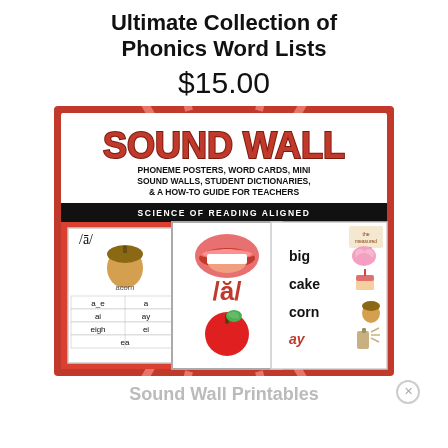Ultimate Collection of Phonics Word Lists
$15.00
[Figure (illustration): Sound Wall educational product image showing phoneme posters, word cards, mini sound walls, student dictionaries, and a how-to guide for teachers. Science of Reading Aligned. Features sample cards with /ā/, /ă/ phonemes, acorn and apple images, and word cards for big, cake, corn, ay.]
Sound Wall Printables